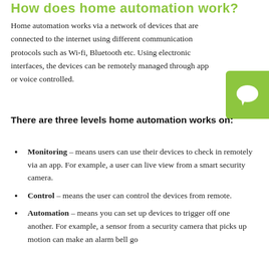How does home automation work?
Home automation works via a network of devices that are connected to the internet using different communication protocols such as Wi-fi, Bluetooth etc. Using electronic interfaces, the devices can be remotely managed through app or voice controlled.
There are three levels home automation works on:
Monitoring – means users can use their devices to check in remotely via an app. For example, a user can live view from a smart security camera.
Control – means the user can control the devices from remote.
Automation – means you can set up devices to trigger off one another. For example, a sensor from a security camera that picks up motion can make an alarm bell go